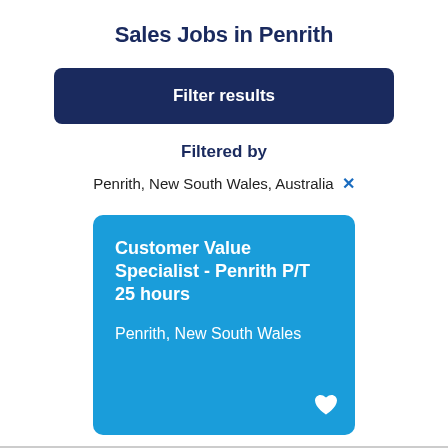Sales Jobs in Penrith
Filter results
Filtered by
Penrith, New South Wales, Australia ×
Customer Value Specialist - Penrith P/T 25 hours
Penrith, New South Wales